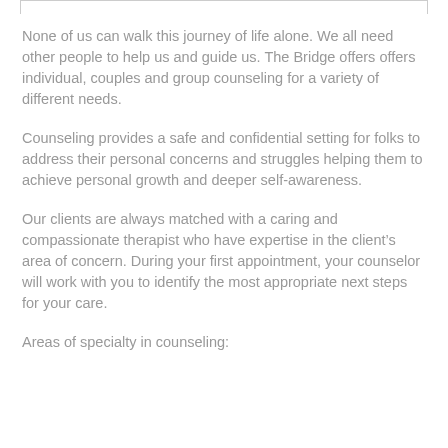None of us can walk this journey of life alone. We all need other people to help us and guide us. The Bridge offers offers individual, couples and group counseling for a variety of different needs.
Counseling provides a safe and confidential setting for folks to address their personal concerns and struggles helping them to achieve personal growth and deeper self-awareness.
Our clients are always matched with a caring and compassionate therapist who have expertise in the client’s area of concern. During your first appointment, your counselor will work with you to identify the most appropriate next steps for your care.
Areas of specialty in counseling: